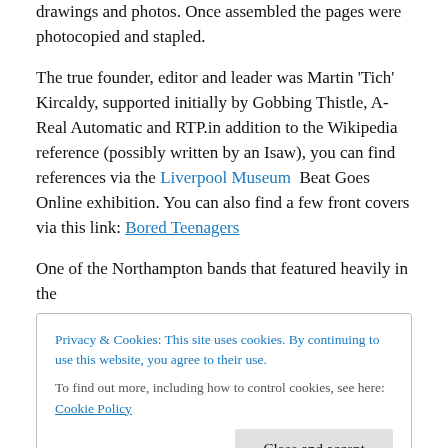drawings and photos. Once assembled the pages were photocopied and stapled.
The true founder, editor and leader was Martin ‘Tich’ Kircaldy, supported initially by Gobbing Thistle, A-Real Automatic and RTP.in addition to the Wikipedia reference (possibly written by an Isaw), you can find references via the Liverpool Museum  Beat Goes Online exhibition. You can also find a few front covers via this link: Bored Teenagers
One of the Northampton bands that featured heavily in the
Privacy & Cookies: This site uses cookies. By continuing to use this website, you agree to their use.
To find out more, including how to control cookies, see here: Cookie Policy
Close and accept
in Harpole; Roadmender, Racecourse Pavilion, Bantam,